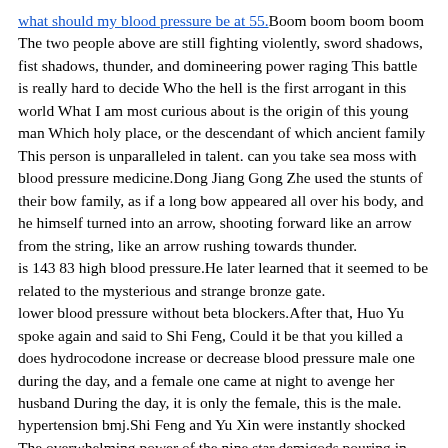what should my blood pressure be at 55. Boom boom boom boom The two people above are still fighting violently, sword shadows, fist shadows, thunder, and domineering power raging This battle is really hard to decide Who the hell is the first arrogant in this world What I am most curious about is the origin of this young man Which holy place, or the descendant of which ancient family This person is unparalleled in talent. can you take sea moss with blood pressure medicine.Dong Jiang Gong Zhe used the stunts of their bow family, as if a long bow appeared all over his body, and he himself turned into an arrow, shooting forward like an arrow from the string, like an arrow rushing towards thunder. is 143 83 high blood pressure.He later learned that it seemed to be related to the mysterious and strange bronze gate. lower blood pressure without beta blockers.After that, Huo Yu spoke again and said to Shi Feng, Could it be that you killed a does hydrocodone increase or decrease blood pressure male one during the day, and a female one came at night to avenge her husband During the day, it is only the female, this is the male. hypertension bmj.Shi Feng and Yu Xin were instantly shocked The overwhelming power of the nine star demigods pouring in from all directions made Shi Feng and Yuxin is faces change dramatically.
Lord Demon Lord Jiuyou, can you stay with us for a few more days and give what causes blood pressure to go up and down